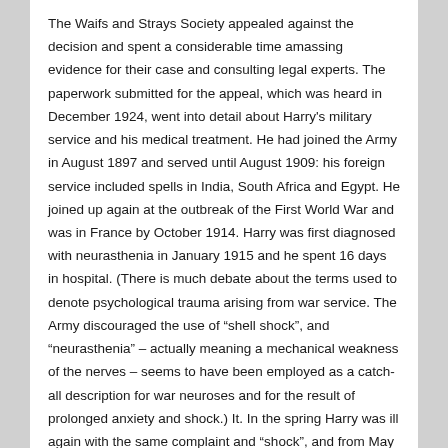The Waifs and Strays Society appealed against the decision and spent a considerable time amassing evidence for their case and consulting legal experts. The paperwork submitted for the appeal, which was heard in December 1924, went into detail about Harry's military service and his medical treatment. He had joined the Army in August 1897 and served until August 1909: his foreign service included spells in India, South Africa and Egypt. He joined up again at the outbreak of the First World War and was in France by October 1914. Harry was first diagnosed with neurasthenia in January 1915 and he spent 16 days in hospital. (There is much debate about the terms used to denote psychological trauma arising from war service. The Army discouraged the use of “shell shock”, and “neurasthenia” – actually meaning a mechanical weakness of the nerves – seems to have been employed as a catch-all description for war neuroses and for the result of prolonged anxiety and shock.) It. In the spring Harry was ill again with the same complaint and “shock”, and from May to July was in hospital, but his condition did not improve and on 5 July